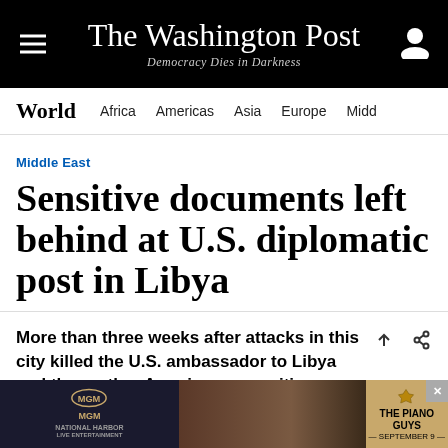The Washington Post — Democracy Dies in Darkness
World — Africa  Americas  Asia  Europe  Middle East
Middle East
Sensitive documents left behind at U.S. diplomatic post in Libya
More than three weeks after attacks in this city killed the U.S. ambassador to Libya and three other Americans, sensitive documents
[Figure (screenshot): MGM advertisement banner at the bottom of the page featuring The Piano Guys, September 9]